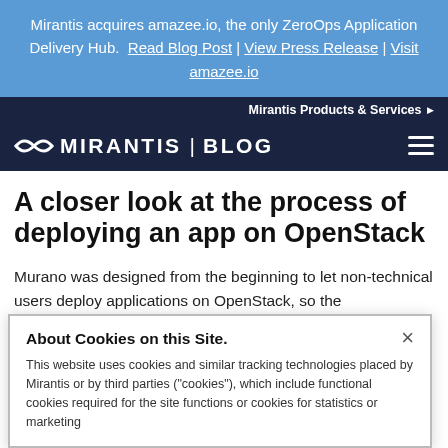Mirantis acquires amazee.io, the only ZeroOps Application Delivery Hub.  Read Blog Post | View Press Release | Visit amazee.io
Mirantis Products & Services
MIRANTIS | BLOG
A closer look at the process of deploying an app on OpenStack
Murano was designed from the beginning to let non-technical users deploy applications on OpenStack, so the
About Cookies on this Site.
This website uses cookies and similar tracking technologies placed by Mirantis or by third parties ("cookies"), which include functional cookies required for the site functions or cookies for statistics or marketing